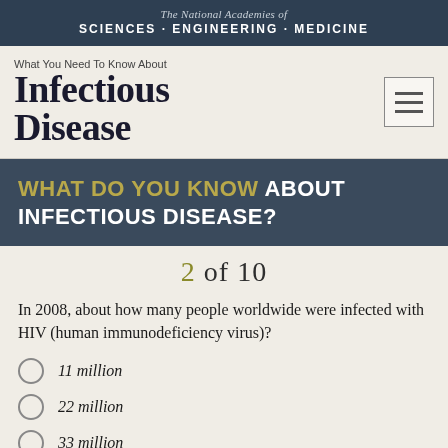The National Academies of SCIENCES · ENGINEERING · MEDICINE
What You Need To Know About Infectious Disease
WHAT DO YOU KNOW ABOUT INFECTIOUS DISEASE?
2 of 10
In 2008, about how many people worldwide were infected with HIV (human immunodeficiency virus)?
11 million
22 million
33 million